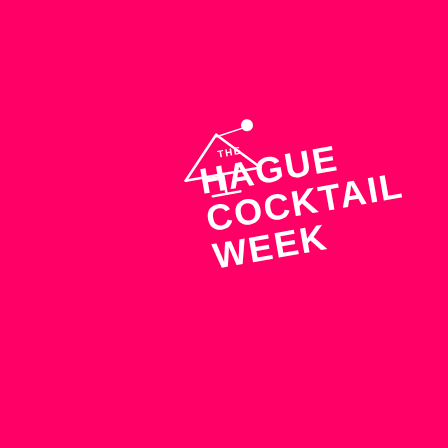[Figure (logo): The Hague Cocktail Week logo on a hot pink/magenta background. White logo featuring a martini glass icon with an olive, small text 'THE' above large bold stacked text 'HAGUE', 'COCKTAIL', 'WEEK'. The entire logo is rotated approximately -10 degrees.]